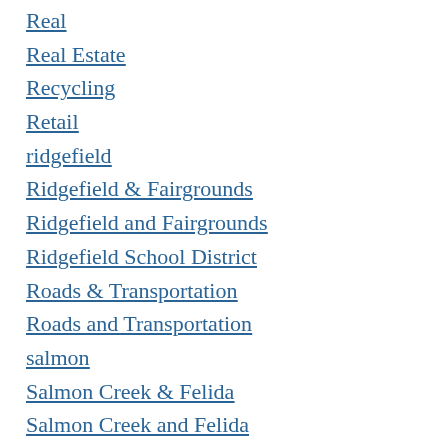Real
Real Estate
Recycling
Retail
ridgefield
Ridgefield & Fairgrounds
Ridgefield and Fairgrounds
Ridgefield School District
Roads & Transportation
Roads and Transportation
salmon
Salmon Creek & Felida
Salmon Creek and Felida
School budgets
Schools